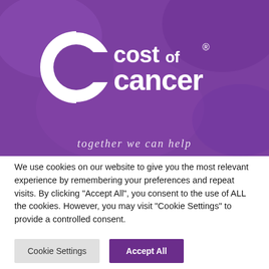[Figure (logo): Cost of Cancer logo on purple banner background with tagline 'together we can help']
We use cookies on our website to give you the most relevant experience by remembering your preferences and repeat visits. By clicking "Accept All", you consent to the use of ALL the cookies. However, you may visit "Cookie Settings" to provide a controlled consent.
Cookie Settings
Accept All